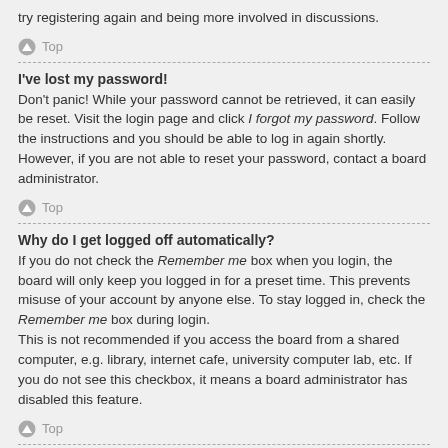try registering again and being more involved in discussions.
Top
I've lost my password!
Don't panic! While your password cannot be retrieved, it can easily be reset. Visit the login page and click I forgot my password. Follow the instructions and you should be able to log in again shortly.
However, if you are not able to reset your password, contact a board administrator.
Top
Why do I get logged off automatically?
If you do not check the Remember me box when you login, the board will only keep you logged in for a preset time. This prevents misuse of your account by anyone else. To stay logged in, check the Remember me box during login.
This is not recommended if you access the board from a shared computer, e.g. library, internet cafe, university computer lab, etc. If you do not see this checkbox, it means a board administrator has disabled this feature.
Top
What does the “Delete all board cookies” do?
“Delete all board cookies” deletes the cookies created by phpBB which keep